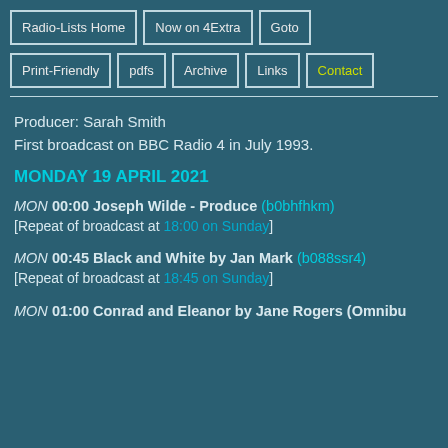Radio-Lists Home | Now on 4Extra | Goto | Print-Friendly | pdfs | Archive | Links | Contact
Producer: Sarah Smith
First broadcast on BBC Radio 4 in July 1993.
MONDAY 19 APRIL 2021
MON 00:00 Joseph Wilde - Produce (b0bhfhkm) [Repeat of broadcast at 18:00 on Sunday]
MON 00:45 Black and White by Jan Mark (b088ssr4) [Repeat of broadcast at 18:45 on Sunday]
MON 01:00 Conrad and Eleanor by Jane Rogers (Omnibu